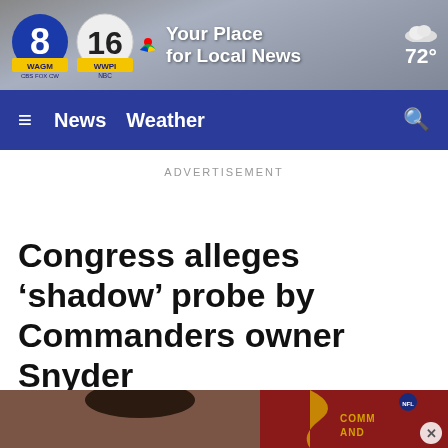WAGM CBS FOX CW | WWPI NBC — Your Place for Local News | 72°
≡  News  Weather  🔍
ADVERTISEMENT
Congress alleges 'shadow' probe by Commanders owner Snyder
[Figure (photo): Partial photo showing a person and a Washington Commanders jersey/uniform with 'COMMAND' text visible, with a close button overlay.]